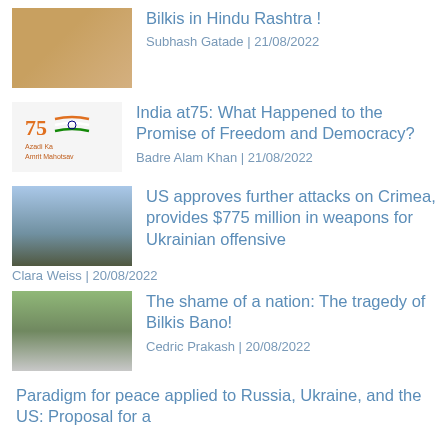[Figure (photo): Group of people seated indoors, wearing orange and light-colored clothing]
Bilkis in Hindu Rashtra !
Subhash Gatade | 21/08/2022
[Figure (logo): Azadi Ka Amrit Mahotsav logo with Indian flag motif and '75']
India at75: What Happened to the Promise of Freedom and Democracy?
Badre Alam Khan | 21/08/2022
[Figure (photo): Open field with infrastructure or towers in the distance under a cloudy sky]
US approves further attacks on Crimea, provides $775 million in weapons for Ukrainian offensive
Clara Weiss | 20/08/2022
[Figure (photo): Group of people standing outdoors in a forested or garden area]
The shame of a nation: The tragedy of Bilkis Bano!
Cedric Prakash | 20/08/2022
Paradigm for peace applied to Russia, Ukraine, and the US: Proposal for a